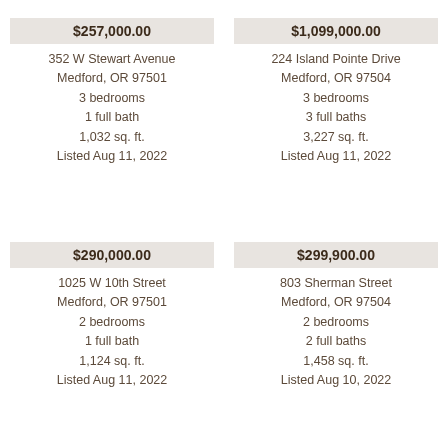$257,000.00 | 352 W Stewart Avenue, Medford, OR 97501 | 3 bedrooms | 1 full bath | 1,032 sq. ft. | Listed Aug 11, 2022
$1,099,000.00 | 224 Island Pointe Drive, Medford, OR 97504 | 3 bedrooms | 3 full baths | 3,227 sq. ft. | Listed Aug 11, 2022
$290,000.00 | 1025 W 10th Street, Medford, OR 97501 | 2 bedrooms | 1 full bath | 1,124 sq. ft. | Listed Aug 11, 2022
$299,900.00 | 803 Sherman Street, Medford, OR 97504 | 2 bedrooms | 2 full baths | 1,458 sq. ft. | Listed Aug 10, 2022